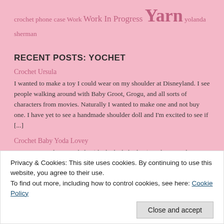crochet phone case Work Work In Progress Yarn yolanda sherman
RECENT POSTS: YOCHET
Crochet Ursula
I wanted to make a toy I could wear on my shoulder at Disneyland. I see people walking around with Baby Groot, Grogu, and all sorts of characters from movies. Naturally I wanted to make one and not buy one. I have yet to see a handmade shoulder doll and I'm excited to see if [...]
Crochet Baby Yoda Lovey
My niece was having a baby (she had a baby boy), and I wanted to give her something special for her baby shower. She loves all things Star Wars, and specifically Baby Yoda/Grogu from The Mandalorian show on Disney. I just knew she would love a crochet lovey. The first attempt wasn't quite right, so [...]
Crochet Sara Doll From Kingdom Hearts Video Game
Privacy & Cookies: This site uses cookies. By continuing to use this website, you agree to their use.
To find out more, including how to control cookies, see here: Cookie Policy
Close and accept